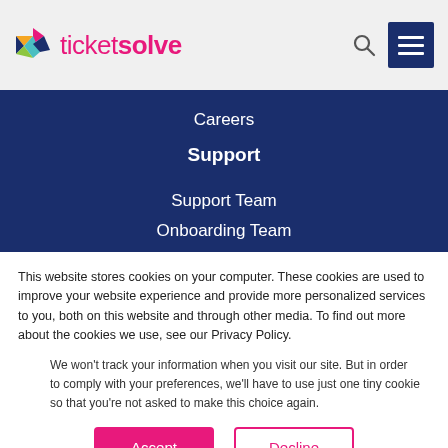[Figure (logo): Ticketsolve logo with colorful geometric star/arrow icon and pink brand name text]
Careers
Support
Support Team
Onboarding Team
This website stores cookies on your computer. These cookies are used to improve your website experience and provide more personalized services to you, both on this website and through other media. To find out more about the cookies we use, see our Privacy Policy.
We won't track your information when you visit our site. But in order to comply with your preferences, we'll have to use just one tiny cookie so that you're not asked to make this choice again.